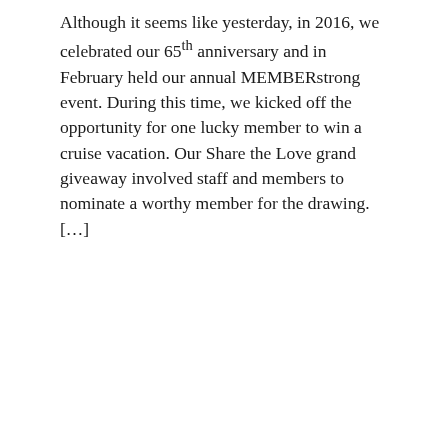Although it seems like yesterday, in 2016, we celebrated our 65th anniversary and in February held our annual MEMBERstrong event. During this time, we kicked off the opportunity for one lucky member to win a cruise vacation. Our Share the Love grand giveaway involved staff and members to nominate a worthy member for the drawing.  […]